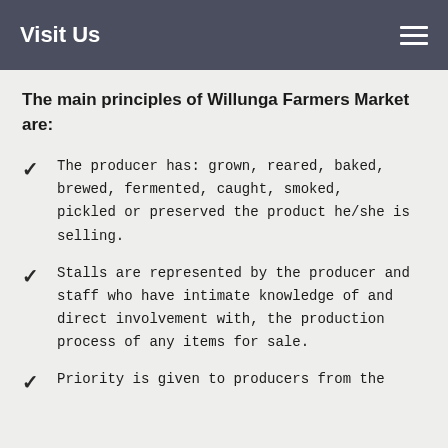Visit Us
The main principles of Willunga Farmers Market are:
The producer has: grown, reared, baked, brewed, fermented, caught, smoked, pickled or preserved the product he/she is selling.
Stalls are represented by the producer and staff who have intimate knowledge of and direct involvement with, the production process of any items for sale.
Priority is given to producers from the